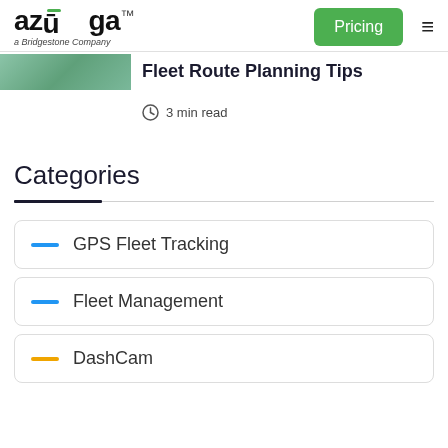azūga™ a Bridgestone Company | Pricing (button) | Menu
[Figure (photo): Partial thumbnail image of a vehicle or fleet scene, cropped at the top of the article card]
Fleet Route Planning Tips
3 min read
Categories
GPS Fleet Tracking
Fleet Management
DashCam